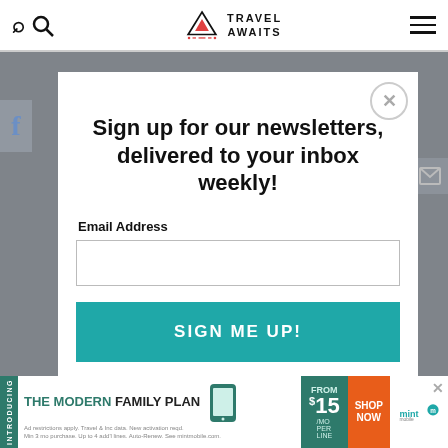Travel Awaits
Sign up for our newsletters, delivered to your inbox weekly!
Email Address
SIGN ME UP!
[Figure (infographic): Bottom advertisement banner: 'INTRODUCING THE MODERN FAMILY PLAN FROM $15/MO PER LINE SHOP NOW' – Mint Mobile ad]
THE MODERN FAMILY PLAN